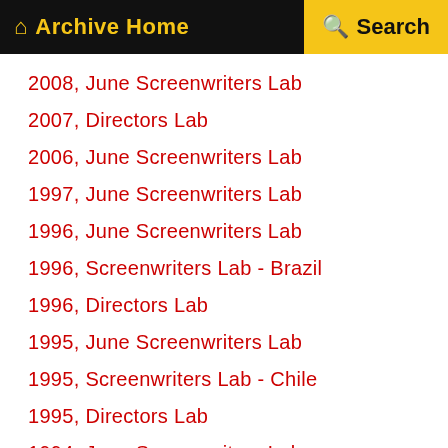Archive Home  Search
2008, June Screenwriters Lab
2007, Directors Lab
2006, June Screenwriters Lab
1997, June Screenwriters Lab
1996, June Screenwriters Lab
1996, Screenwriters Lab - Brazil
1996, Directors Lab
1995, June Screenwriters Lab
1995, Screenwriters Lab - Chile
1995, Directors Lab
1994, June Screenwriters Lab